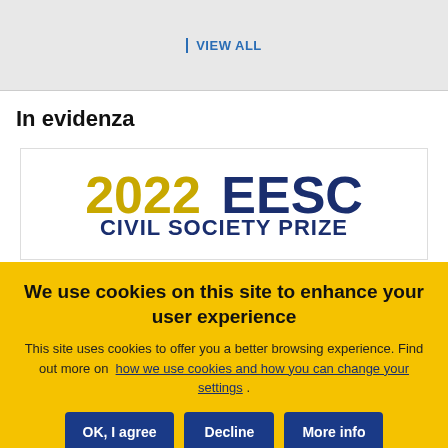VIEW ALL
In evidenza
[Figure (logo): 2022 EESC CIVIL SOCIETY PRIZE logo with year in gold and EESC in dark blue]
We use cookies on this site to enhance your user experience
This site uses cookies to offer you a better browsing experience. Find out more on how we use cookies and how you can change your settings .
OK, I agree | Decline | More info